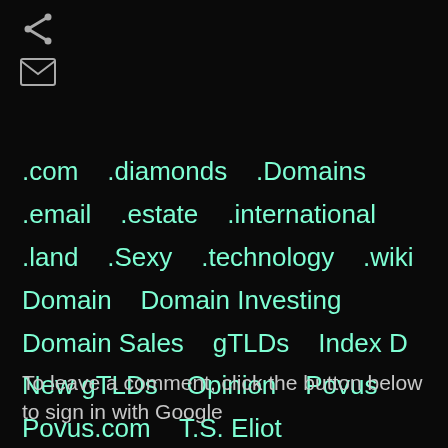[Figure (other): Share icon (less-than symbol style arrow)]
[Figure (other): Email/envelope icon]
.com   .diamonds   .Domains
.email   .estate   .international
.land   .Sexy   .technology   .wiki
Domain   Domain Investing
Domain Sales   gTLDs   Index D
New gTLDs   Opinion   Povus
Povus.com   T.S. Eliot
To leave a comment, click the button below to sign in with Google